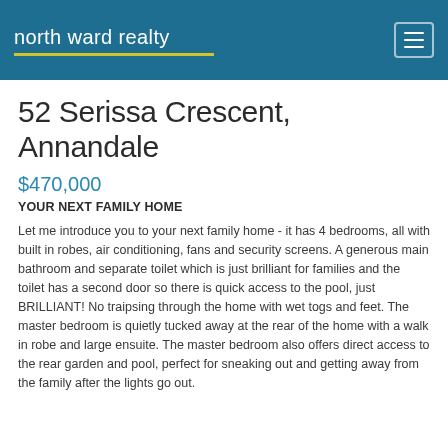north ward realty
52 Serissa Crescent, Annandale
$470,000
YOUR NEXT FAMILY HOME
Let me introduce you to your next family home - it has 4 bedrooms, all with built in robes, air conditioning, fans and security screens. A generous main bathroom and separate toilet which is just brilliant for families and the toilet has a second door so there is quick access to the pool, just BRILLIANT! No traipsing through the home with wet togs and feet. The master bedroom is quietly tucked away at the rear of the home with a walk in robe and large ensuite. The master bedroom also offers direct access to the rear garden and pool, perfect for sneaking out and getting away from the family after the lights go out.